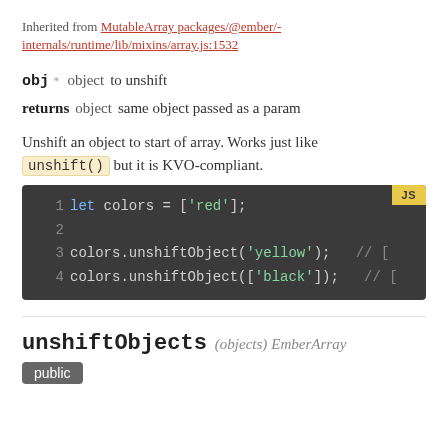Inherited from MutableArray packages/@ember/-internals/runtime/lib/mixins/array.js:1532
obj * object to unshift
returns object same object passed as a param
Unshift an object to start of array. Works just like unshift() but it is KVO-compliant.
[Figure (screenshot): Code block showing JavaScript: let colors = ['red']; colors.unshiftObject('yellow'); // [ colors.unshiftObject(['black']); // []
unshiftObjects (objects) EmberArray
public